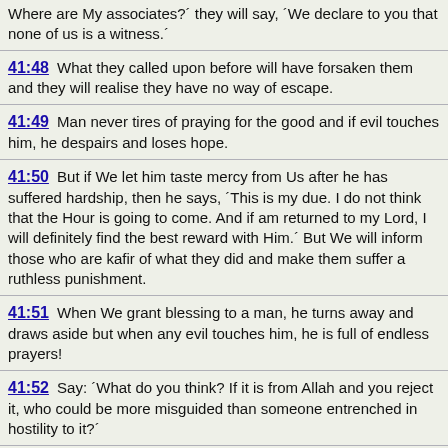Where are My associates?` they will say, `We declare to you that none of us is a witness.`
41:48 What they called upon before will have forsaken them and they will realise they have no way of escape.
41:49 Man never tires of praying for the good and if evil touches him, he despairs and loses hope.
41:50 But if We let him taste mercy from Us after he has suffered hardship, then he says, `This is my due. I do not think that the Hour is going to come. And if am returned to my Lord, I will definitely find the best reward with Him.` But We will inform those who are kafir of what they did and make them suffer a ruthless punishment.
41:51 When We grant blessing to a man, he turns away and draws aside but when any evil touches him, he is full of endless prayers!
41:52 Say: `What do you think? If it is from Allah and you reject it, who could be more misguided than someone entrenched in hostility to it?`
41:53 We will show them Our Signs on the horizon and within themselves until it is clear to them that it is the truth. Is it not enough for your Lord that He is a witness of everything?
41:54 What! Are they in doubt about the meeting with their